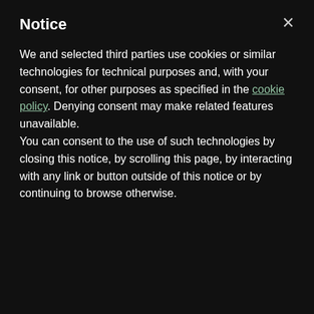Notice
We and selected third parties use cookies or similar technologies for technical purposes and, with your consent, for other purposes as specified in the cookie policy. Denying consent may make related features unavailable.
You can consent to the use of such technologies by closing this notice, by scrolling this page, by interacting with any link or button outside of this notice or by continuing to browse otherwise.
Marijuana Bloom Shocker: There Are Four Marijuana ...
Mail Order Marijuana, Hash Oil & Hashish!
Behemoth Buds: These Are The Best Strains ...
Growing Marijuana: Drying & Curing Marijuana for